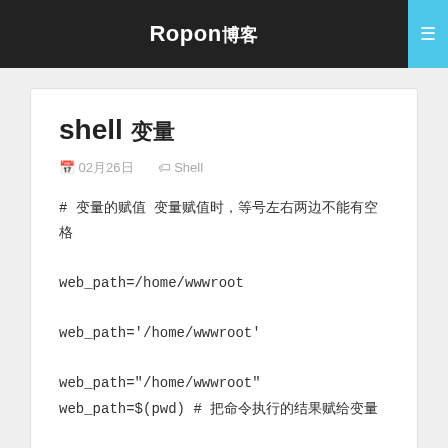Ropon博客
shell 变量
📅 02月26日    🏷 Shell
# 变量的赋值 变量赋值时，等号左右两边不能有空格

web_path=/home/wwwroot

web_path='/home/wwwroot'

web_path="/home/wwwroot" web_path=$(pwd) # 把命令执行的结果赋给变量 # awk中 ...
Centos配置IPV6地址